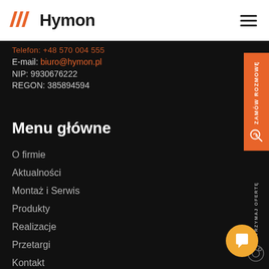Hymon
E-mail: biuro@hymon.pl
NIP: 9930676222
REGON: 385894594
Menu główne
O firmie
Aktualności
Montaż i Serwis
Produkty
Realizacje
Przetargi
Kontakt